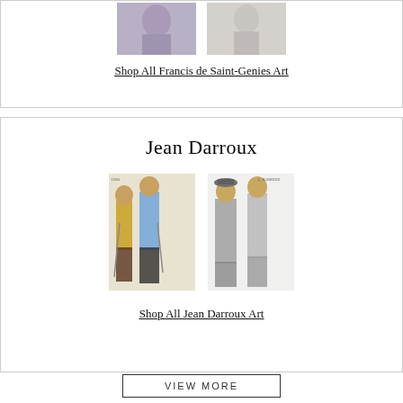[Figure (photo): Two cropped fashion illustration images of Francis de Saint-Genies art, partially visible at top of page]
Shop All Francis de Saint-Genies Art
Jean Darroux
[Figure (photo): Two fashion illustration images by Jean Darroux: left shows a man and woman in colorful casual/sportswear with walking sticks, right shows two men in grey coats and suits]
Shop All Jean Darroux Art
VIEW MORE